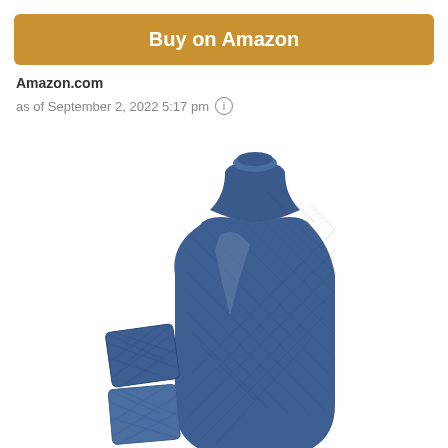Buy on Amazon
Amazon.com
as of September 2, 2022 5:17 pm ⓘ
[Figure (photo): A blue rubber hot water bottle with a diamond/argyle texture pattern. In front of it are two smaller square textured blue rubber tiles/patches shown at an angle. The main bottle has a wide neck and rounded body.]